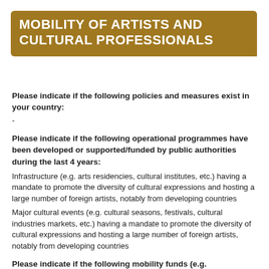MOBILITY OF ARTISTS AND CULTURAL PROFESSIONALS
Please indicate if the following policies and measures exist in your country:
-
Please indicate if the following operational programmes have been developed or supported/funded by public authorities during the last 4 years:
Infrastructure (e.g. arts residencies, cultural institutes, etc.) having a mandate to promote the diversity of cultural expressions and hosting a large number of foreign artists, notably from developing countries
Major cultural events (e.g. cultural seasons, festivals, cultural industries markets, etc.) having a mandate to promote the diversity of cultural expressions and hosting a large number of foreign artists, notably from developing countries
Please indicate if the following mobility funds (e.g.